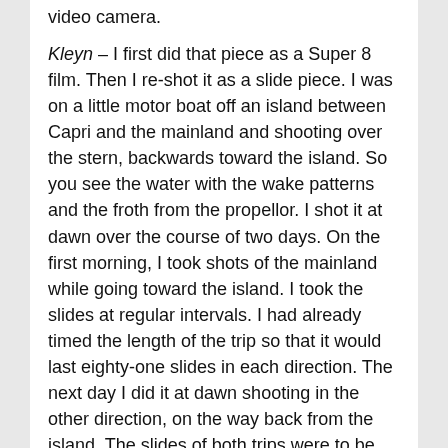video camera.

Kleyn – I first did that piece as a Super 8 film. Then I re-shot it as a slide piece. I was on a little motor boat off an island between Capri and the mainland and shooting over the stern, backwards toward the island. So you see the water with the wake patterns and the froth from the propellor. I shot it at dawn over the course of two days. On the first morning, I took shots of the mainland while going toward the island. I took the slides at regular intervals. I had already timed the length of the trip so that it would last eighty-one slides in each direction. The next day I did it at dawn shooting in the other direction, on the way back from the island. The slides of both trips were to be shown simultaneously, side by side with one going one way, and one going the other